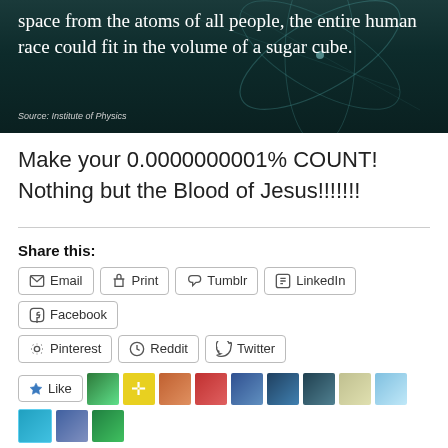[Figure (photo): Dark teal background with atom/network line graphics and white text: 'space from the atoms of all people, the entire human race could fit in the volume of a sugar cube.' Source: Institute of Physics]
Make your 0.0000000001% COUNT! Nothing but the Blood of Jesus!!!!!!!
Share this:
Email
Print
Tumblr
LinkedIn
Facebook
Pinterest
Reddit
Twitter
12 bloggers like this.